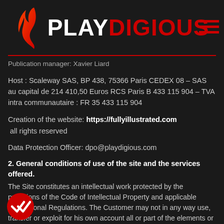PLAYDIGIOUS
Publication manager: Xavier Liard
Host : Scaleway SAS, BP 438, 75366 Paris CEDEX 08 – SAS au capital de 214 410,50 Euros RCS Paris B 433 115 904 – TVA intra communautaire : FR 35 433 115 904
Creation of the website: https://fullyillustrated.com all rights reserved
Data Protection Officer: dpo@playdigious.com
2. General conditions of use of the site and the services offered.
The Site constitutes an intellectual work protected by the provisions of the Code of Intellectual Property and applicable International Regulations. The Customer may not in any way use, transfer or exploit for his own account all or part of the elements or works of the Site. Use of the site https://playdigious.com/ implies full